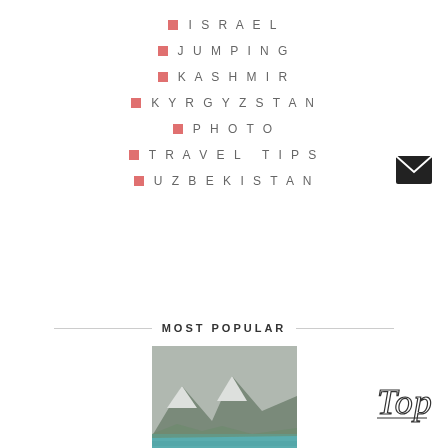ISRAEL
JUMPING
KASHMIR
KYRGYZSTAN
PHOTO
TRAVEL TIPS
UZBEKISTAN
MOST POPULAR
[Figure (photo): Mountain lake with turquoise water and snow-capped peaks, likely Ala Kul Lake in Kyrgyzstan]
ALA KUL LAKE – T...